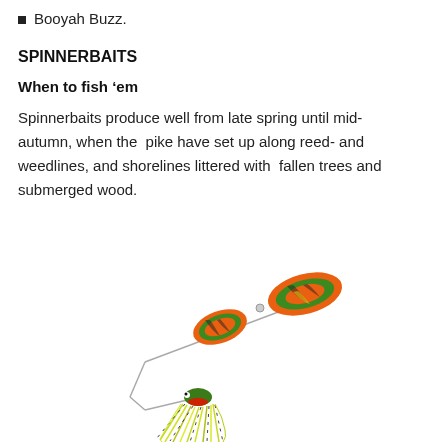Booyah Buzz.
SPINNERBAITS
When to fish ‘em
Spinnerbaits produce well from late spring until mid-autumn, when the pike have set up along reed- and weedlines, and shorelines littered with fallen trees and submerged wood.
[Figure (photo): A spinnerbait fishing lure featuring two large orange, green and black tiger-pattern willow blades on a wire arm, with a jig head and colorful yellow-green rubber skirt with spotted tentacles.]